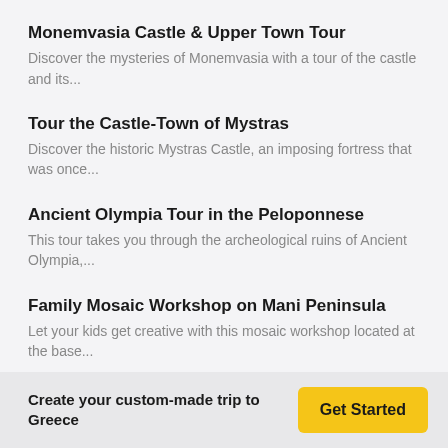Monemvasia Castle & Upper Town Tour
Discover the mysteries of Monemvasia with a tour of the castle and its...
Tour the Castle-Town of Mystras
Discover the historic Mystras Castle, an imposing fortress that was once...
Ancient Olympia Tour in the Peloponnese
This tour takes you through the archeological ruins of Ancient Olympia,...
Family Mosaic Workshop on Mani Peninsula
Let your kids get creative with this mosaic workshop located at the base...
Kalamata Experiences
Create your custom-made trip to Greece
Get Started